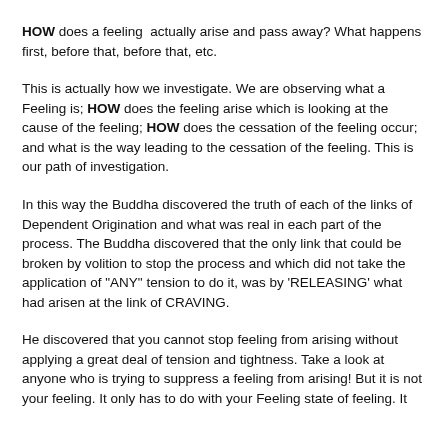HOW does a feeling actually arise and pass away? What happens first, before that, before that, etc.
This is actually how we investigate. We are observing what a Feeling is; HOW does the feeling arise which is looking at the cause of the feeling; HOW does the cessation of the feeling occur; and what is the way leading to the cessation of the feeling. This is our path of investigation.
In this way the Buddha discovered the truth of each of the links of Dependent Origination and what was real in each part of the process. The Buddha discovered that the only link that could be broken by volition to stop the process and which did not take the application of "ANY" tension to do it, was by 'RELEASING' what had arisen at the link of CRAVING.
He discovered that you cannot stop feeling from arising without applying a great deal of tension and tightness. Take a look at anyone who is trying to suppress a feeling from arising! But it is not your feeling. It only has to do with your Feeling state of feeling. It...